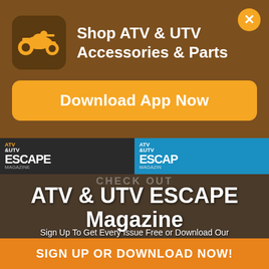[Figure (infographic): ATV/UTV app advertisement banner with brown background, orange ATV icon, close button, and download button]
Shop ATV & UTV Accessories & Parts
Download App Now
[Figure (photo): ATV & UTV ESCAPE Magazine covers showing riders on ATVs in outdoor settings]
CHECK OUT
ATV & UTV ESCAPE Magazine
Sign Up To Get Every Issue Free or Download Our Free Magazine App
SIGN UP OR DOWNLOAD NOW!